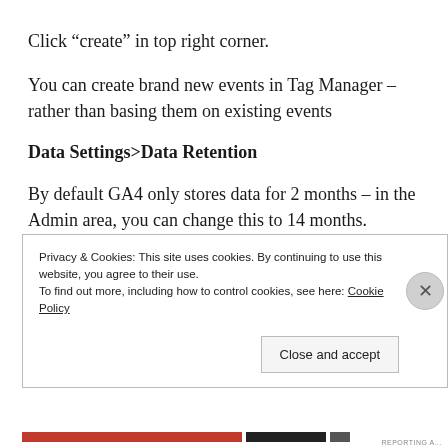Click “create” in top right corner.
You can create brand new events in Tag Manager – rather than basing them on existing events
Data Settings>Data Retention
By default GA4 only stores data for 2 months – in the Admin area, you can change this to 14 months.
Privacy & Cookies: This site uses cookies. By continuing to use this website, you agree to their use.
To find out more, including how to control cookies, see here: Cookie Policy
Close and accept